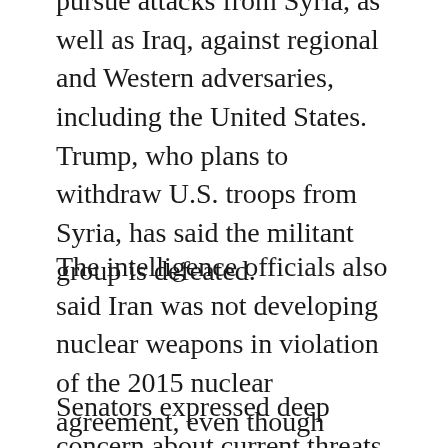pursue attacks from Syria, as well as Iraq, against regional and Western adversaries, including the United States. Trump, who plans to withdraw U.S. troops from Syria, has said the militant group is defeated.
The intelligence officials also said Iran was not developing nuclear weapons in violation of the 2015 nuclear agreement, even though Tehran has threatened to reverse some commitments after Trump pulled out of the deal.
Senators expressed deep concern about current threats.